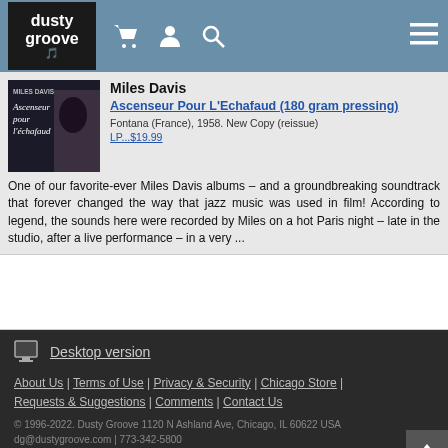dusty groove [logo with cart, user, search, and menu icons]
Miles Davis
Ascenseur Pour L'Echafaud (180 gram pressing)
Fontana (France), 1958. New Copy (reissue)
LP...$19.99
One of our favorite-ever Miles Davis albums – and a groundbreaking soundtrack that forever changed the way that jazz music was used in film! According to legend, the sounds here were recorded by Miles on a hot Paris night – late in the studio, after a live performance – in a very ...
Desktop version
About Us | Terms of Use | Privacy & Security | Chicago Store | Requests & Suggestions | Comments | Contact Us
© 1996-2022. Dusty Groove 1120 N Ashland Ave, Chicago, IL 60622 USA
dg@dustygroove.com | 773-342-5800
Dusty Groove is a registered trademark — read more.